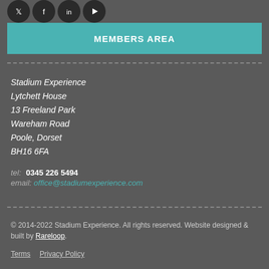[Figure (other): Social media icons (Twitter, Facebook, LinkedIn, YouTube) as dark circles at the top left]
MEMBERS AREA
Stadium Experience
Lytchett House
13 Freeland Park
Wareham Road
Poole, Dorset
BH16 6FA
tel: 0345 226 5494
email: office@stadiumexperience.com
© 2014-2022 Stadium Experience. All rights reserved. Website designed & built by Rareloop.
Terms    Privacy Policy